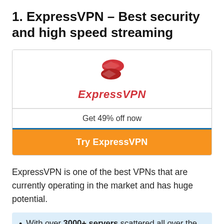1. ExpressVPN – Best security and high speed streaming
[Figure (logo): ExpressVPN logo: red shield/arrow icon above red italic text 'ExpressVPN']
Get 49% off now
Try ExpressVPN
ExpressVPN is one of the best VPNs that are currently operating in the market and has huge potential.
With over 3000+ servers scattered all over the